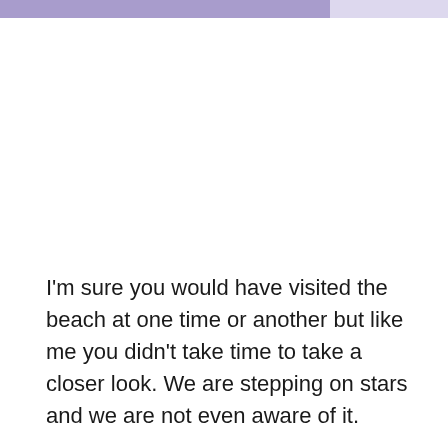I'm sure you would have visited the beach at one time or another but like me you didn't take time to take a closer look. We are stepping on stars and we are not even aware of it.
Be careful if you go to the area though, the site is a nesting area for green sea turtles and don't forget to